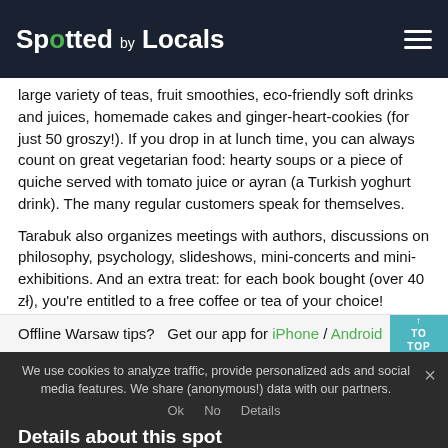Spotted by Locals
large variety of teas, fruit smoothies, eco-friendly soft drinks and juices, homemade cakes and ginger-heart-cookies (for just 50 groszy!). If you drop in at lunch time, you can always count on great vegetarian food: hearty soups or a piece of quiche served with tomato juice or ayran (a Turkish yoghurt drink). The many regular customers speak for themselves.
Tarabuk also organizes meetings with authors, discussions on philosophy, psychology, slideshows, mini-concerts and mini-exhibitions. And an extra treat: for each book bought (over 40 zł), you're entitled to a free coffee or tea of your choice!
Offline Warsaw tips?   Get our app for iPhone / Android
We use cookies to analyze traffic, provide personalized ads and social media features. We share (anonymous!) data with our partners.
Details about this spot